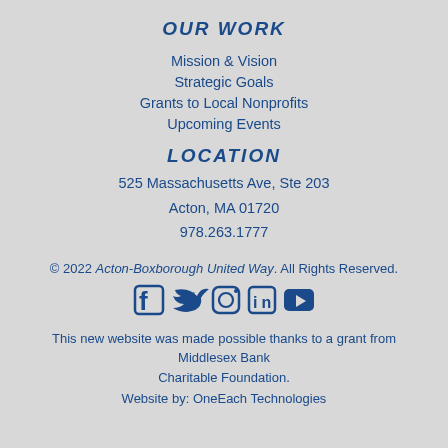OUR WORK
Mission & Vision
Strategic Goals
Grants to Local Nonprofits
Upcoming Events
LOCATION
525 Massachusetts Ave, Ste 203
Acton, MA 01720
978.263.1777
© 2022 Acton-Boxborough United Way. All Rights Reserved.
[Figure (other): Social media icons: Facebook, Twitter, Instagram, LinkedIn, YouTube]
This new website was made possible thanks to a grant from Middlesex Bank Charitable Foundation.
Website by: OneEach Technologies